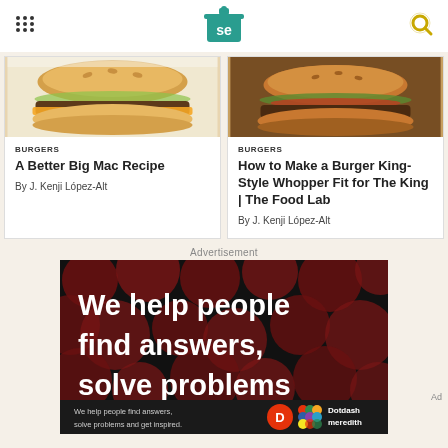Serious Eats logo, menu icon, search icon
[Figure (photo): Photo of a Big Mac-style burger on a white background]
BURGERS
A Better Big Mac Recipe
By J. Kenji López-Alt
[Figure (photo): Photo of a Whopper-style burger on a wooden board]
BURGERS
How to Make a Burger King-Style Whopper Fit for The King | The Food Lab
By J. Kenji López-Alt
Advertisement
[Figure (screenshot): Advertisement banner: black background with dark red dots pattern, large white bold text reading 'We help people find answers, solve problems'. Footer bar shows 'We help people find answers, solve problems and get inspired.' with Dotdash Meredith logo.]